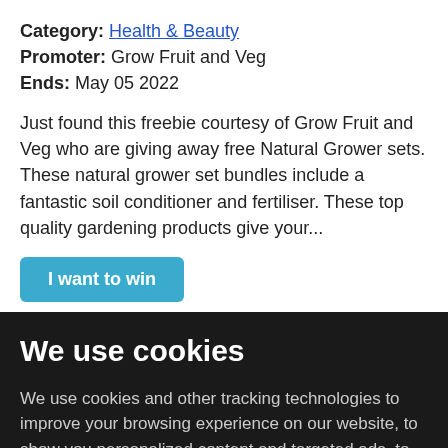Category: Health & Beauty
Promoter: Grow Fruit and Veg
Ends: May 05 2022
Just found this freebie courtesy of Grow Fruit and Veg who are giving away free Natural Grower sets. These natural grower set bundles include a fantastic soil conditioner and fertiliser. These top quality gardening products give your...
I want to win
We use cookies
We use cookies and other tracking technologies to improve your browsing experience on our website, to show you personalized content and targeted ads, to analyze our website traffic, and